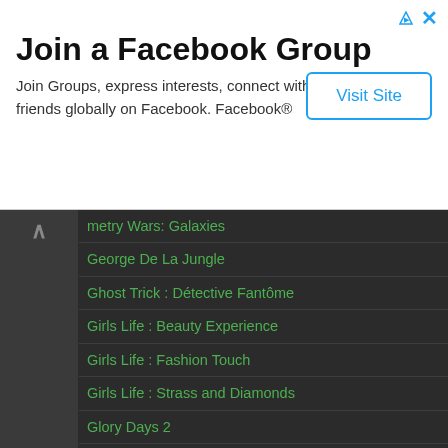[Figure (screenshot): Advertisement banner for Facebook Groups: 'Join a Facebook Group' with 'Visit Site' button]
Join a Facebook Group
Join Groups, express interests, connect with friends globally on Facebook. Facebook®
metry Wars: Galaxies
George De La Jungle
Ghost Trick : Détective Fantôme
Girls Life : Beauty Experience
Girls Life : Fashion Touch
Girls Life : Strass and Diamonds
Glory Days 2
Go Diego ! Au Secours du Dinosaure
Go Diego ! Mission Safari !
Golden Nugget Casino DS
Golden Sun : Obscure Aurore
GoldenEye 007
GoldenEye : Au Service Du Mal
Grand Theft Auto : Chinatown Wars
Greg Hastings' Tournament Paintball Max'd
Guilty Gear Dust Strikers
Guitar Hero : On Tour